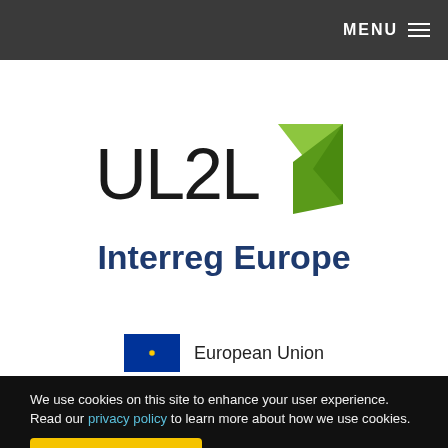MENU
[Figure (logo): UL2L Interreg Europe logo with green angular shape on the right and text 'UL2L Interreg Europe']
[Figure (logo): European Union flag with circle of yellow stars on blue background, followed by text 'European Union']
We use cookies on this site to enhance your user experience. Read our privacy policy to learn more about how we use cookies.
I accept all cookies
I refuse optional cookies